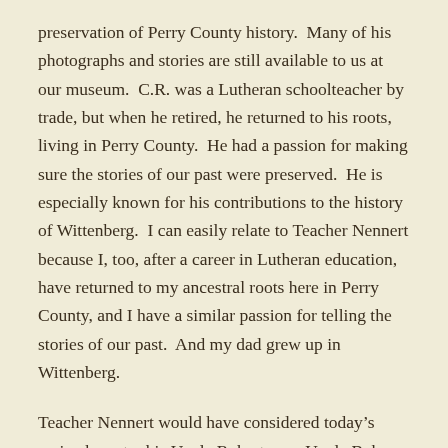preservation of Perry County history.  Many of his photographs and stories are still available to us at our museum.  C.R. was a Lutheran schoolteacher by trade, but when he retired, he returned to his roots, living in Perry County.  He had a passion for making sure the stories of our past were preserved.  He is especially known for his contributions to the history of Wittenberg.  I can easily relate to Teacher Nennert because I, too, after a career in Lutheran education, have returned to my ancestral roots here in Perry County, and I have a similar passion for telling the stories of our past.  And my dad grew up in Wittenberg.
Teacher Nennert would have considered today's main character his Uncle Robert.....or Uncle Bob.  Robert Lebrecht Nennert was born on August 27, 1857.  He was the son of Friedrich and Amalie (Naeser) Nennert.  The baptism record for Robert...